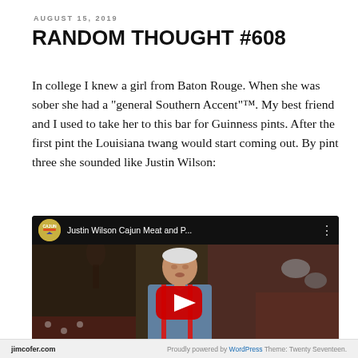AUGUST 15, 2019
RANDOM THOUGHT #608
In college I knew a girl from Baton Rouge. When she was sober she had a "general Southern Accent"™. My best friend and I used to take her to this bar for Guinness pints. After the first pint the Louisiana twang would start coming out. By pint three she sounded like Justin Wilson:
[Figure (screenshot): Embedded YouTube video thumbnail showing Justin Wilson Cajun Meat and P... with a red play button overlay. The thumbnail shows an elderly man in a blue shirt with red suspenders in a kitchen setting.]
jimcofer.com    Proudly powered by WordPress  Theme: Twenty Seventeen.